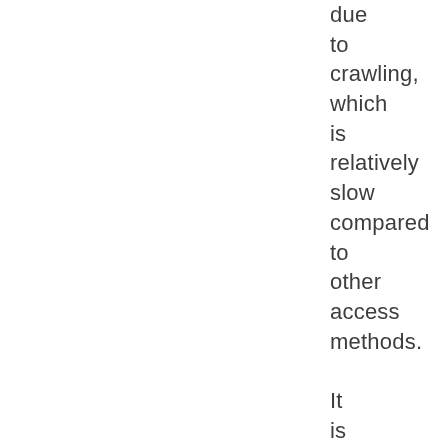due to crawling, which is relatively slow compared to other access methods. It is also available a light version of